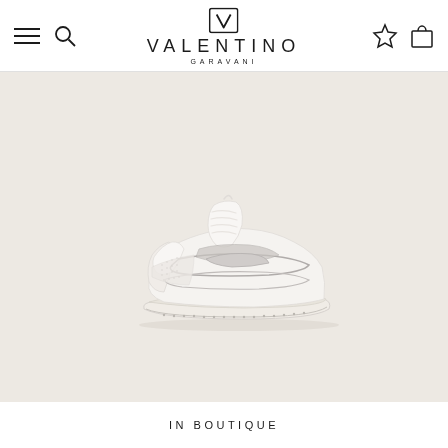Valentino Garavani
[Figure (photo): White Valentino Garavani VL7N low-top sneaker with cage strap detail, photographed from the side on a light beige/cream background. The sneaker features white leather upper, white laces, white rubber sole, and silver/grey metallic cage straps across the midfoot.]
IN BOUTIQUE